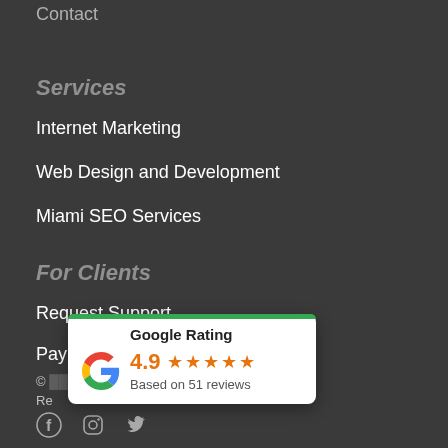Contact
Services
Internet Marketing
Web Design and Development
Miami SEO Services
For Clients
Request Support
Pay Invoice
© Group, Inc. All Rights
Re
[Figure (infographic): Google Rating widget showing 4.9 stars based on 51 reviews, with Google 'G' logo and orange stars]
Social media icons: Facebook, Instagram, Twitter